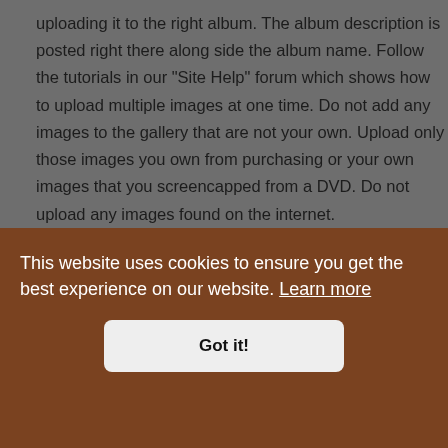uploading it to the right album. The album description is posted right there along side the album name. Follow the tutorials in our “Site Help” forum which shows how to upload multiple images at one time. Do not add any images to the gallery that are not your own. Upload only those images you own from purchasing or your own images that you screencapped from a DVD. Do not upload any images found on the internet.
You may, however, use internet images to post on the forums as long as it's not hotlinked from the net. All images found in our gallery will be assumed that they are...
This website uses cookies to ensure you get the best experience on our website. Learn more
Got it!